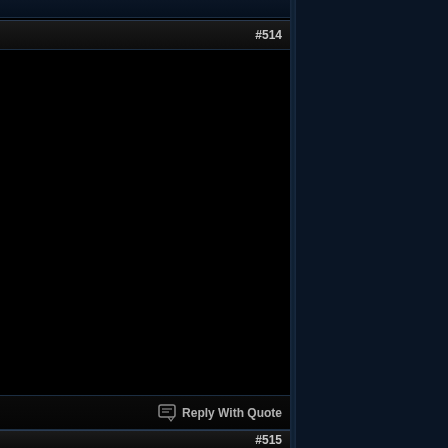#514
[Figure (screenshot): Black content area of forum post #514]
Reply With Quote
#515